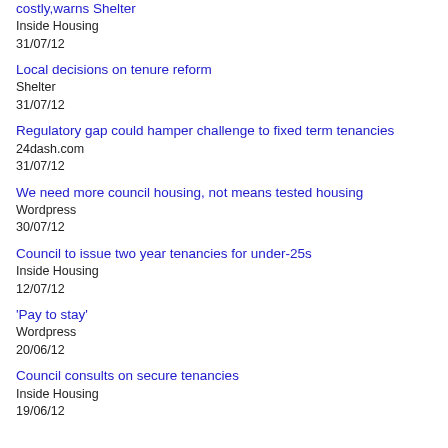costly,warns Shelter
Inside Housing
31/07/12
Local decisions on tenure reform
Shelter
31/07/12
Regulatory gap could hamper challenge to fixed term tenancies
24dash.com
31/07/12
We need more council housing, not means tested housing
Wordpress
30/07/12
Council to issue two year tenancies for under-25s
Inside Housing
12/07/12
'Pay to stay'
Wordpress
20/06/12
Council consults on secure tenancies
Inside Housing
19/06/12